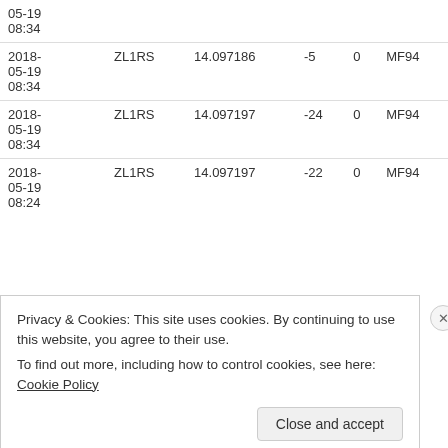| Date | Call | Frequency | SNR | Drift | Grid |
| --- | --- | --- | --- | --- | --- |
| 2018-05-19 08:34 | ZL1RS | 14.097186 | -5 | 0 | MF94 |
| 2018-05-19 08:34 | ZL1RS | 14.097197 | -24 | 0 | MF94 |
| 2018-05-19 08:24 | ZL1RS | 14.097197 | -22 | 0 | MF94 |
Privacy & Cookies: This site uses cookies. By continuing to use this website, you agree to their use.
To find out more, including how to control cookies, see here: Cookie Policy
Close and accept